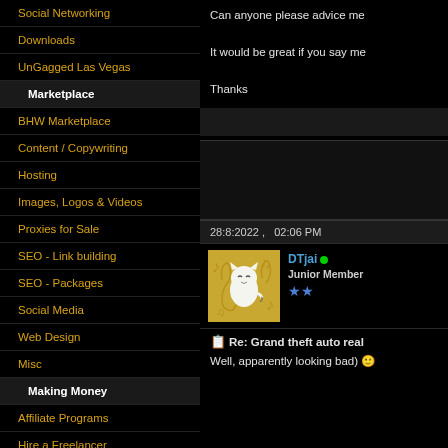Social Networking
Downloads
UnGagged Las Vegas
Marketplace
BHW Marketplace
Content / Copywriting
Hosting
Images, Logos & Videos
Proxies for Sale
SEO - Link building
SEO - Packages
Social Media
Web Design
Misc
Making Money
Affiliate Programs
Hire a Freelancer
Can anyone please advice me
It would be great if you say me
Thanks
28:8:2022 ,   02:06 PM
DTjai
Junior Member
Re: Grand theft auto real
Well, apparently looking bad)